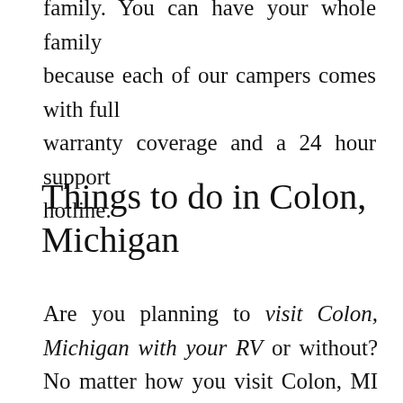family. You can have your whole family because each of our campers comes with full warranty coverage and a 24 hour support hotline.
Things to do in Colon, Michigan
Are you planning to visit Colon, Michigan with your RV or without? No matter how you visit Colon, MI there are some things that you can do: